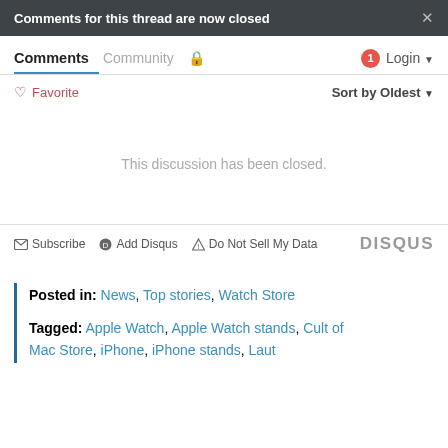Comments for this thread are now closed
Comments | Community | 🔒 | 1 | Login
♡ Favorite | Sort by Oldest
This discussion has been closed.
✉ Subscribe  Ⓓ Add Disqus  ⚠ Do Not Sell My Data  DISQUS
Posted in: News, Top stories, Watch Store
Tagged: Apple Watch, Apple Watch stands, Cult of Mac Store, iPhone, iPhone stands, Laut